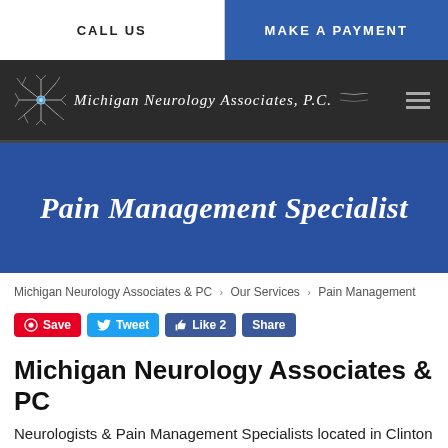CALL US | MAKE A PAYMENT
[Figure (logo): Michigan Neurology Associates, P.C. logo with neuron graphic on dark background navigation bar]
Pain Management Specialist
Michigan Neurology Associates & PC > Our Services > Pain Management
[Figure (infographic): Social sharing buttons: Save (Pinterest), Tweet (Twitter), Like 2 (Facebook), Share (Facebook)]
Michigan Neurology Associates & PC
Neurologists & Pain Management Specialists located in Clinton Township, MI & St. Clair Shores, MI
Whether you are dealing with pain from a recent injury or